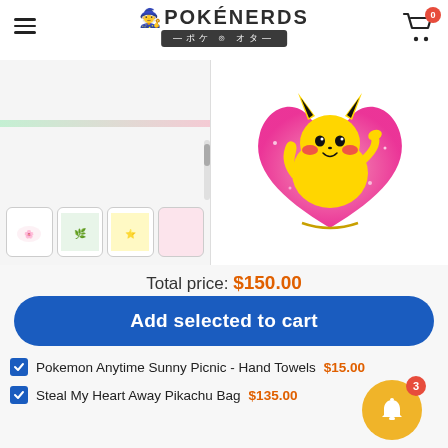POKENERDS ポケ オタ
[Figure (photo): Product thumbnails for Pokemon Anytime Sunny Picnic Hand Towels (4 small preview images) on the left panel, and Steal My Heart Away Pikachu Bag (heart-shaped pink glitter bag with Pikachu character) on the right panel]
Total price: $150.00
Add selected to cart
Pokemon Anytime Sunny Picnic - Hand Towels  $15.00
Steal My Heart Away Pikachu Bag  $135.00